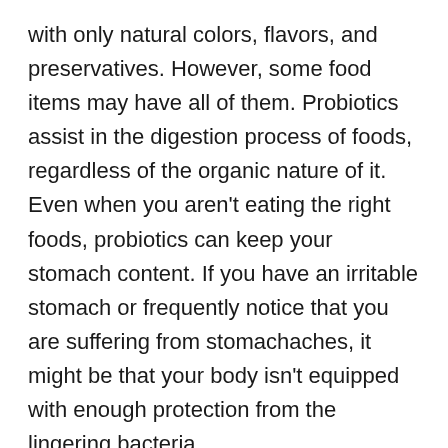with only natural colors, flavors, and preservatives. However, some food items may have all of them. Probiotics assist in the digestion process of foods, regardless of the organic nature of it. Even when you aren't eating the right foods, probiotics can keep your stomach content. If you have an irritable stomach or frequently notice that you are suffering from stomachaches, it might be that your body isn't equipped with enough protection from the lingering bacteria that cause irritation. Inactive and active digestion is a good time to take probiotics.
Probiotics can aid in digestion and help you digest food faster. Your digestive system will respond quicker to this process, which will reduce the